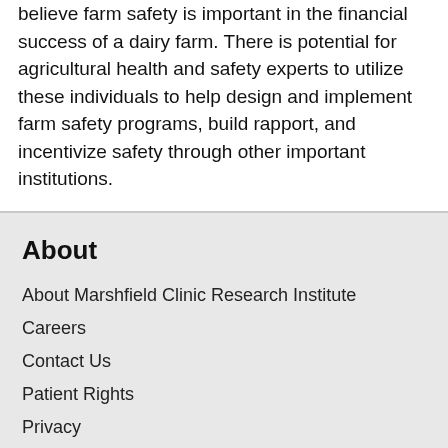believe farm safety is important in the financial success of a dairy farm. There is potential for agricultural health and safety experts to utilize these individuals to help design and implement farm safety programs, build rapport, and incentivize safety through other important institutions.
About
About Marshfield Clinic Research Institute
Careers
Contact Us
Patient Rights
Privacy
Location
Our System
Marshfield Clinic